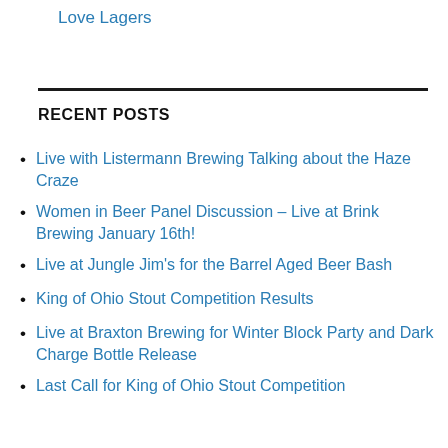Love Lagers
RECENT POSTS
Live with Listermann Brewing Talking about the Haze Craze
Women in Beer Panel Discussion – Live at Brink Brewing January 16th!
Live at Jungle Jim's for the Barrel Aged Beer Bash
King of Ohio Stout Competition Results
Live at Braxton Brewing for Winter Block Party and Dark Charge Bottle Release
Last Call for King of Ohio Stout Competition